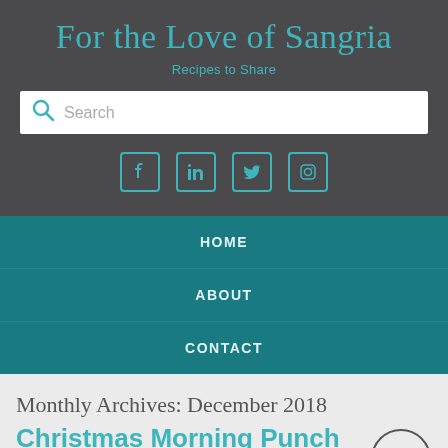For the Love of Sangria
Recipes to Share
Search
[Figure (infographic): Social media icons row: Facebook, LinkedIn, Twitter, Instagram — teal colored with square borders]
HOME
ABOUT
CONTACT
Monthly Archives: December 2018
Christmas Morning Punch (the adult